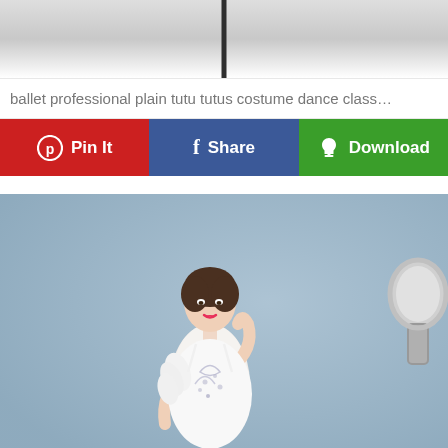[Figure (photo): Top portion of a ballet tutu costume image — pole/rack visible against light gray background]
ballet professional plain tutu tutus costume dance class…
[Figure (infographic): Three action buttons: red Pin It button with Pinterest icon, blue Share button with Facebook f icon, green Download button with cloud-download icon]
[Figure (photo): Young woman with short brown hair wearing a white feathered ballet tutu costume with crystal embellishments on the bodice, posed against a blue textured wall background with an ornate silver hand mirror visible at right edge]